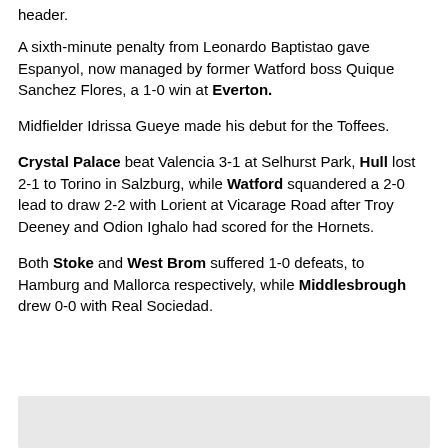header.
A sixth-minute penalty from Leonardo Baptistao gave Espanyol, now managed by former Watford boss Quique Sanchez Flores, a 1-0 win at Everton.
Midfielder Idrissa Gueye made his debut for the Toffees.
Crystal Palace beat Valencia 3-1 at Selhurst Park, Hull lost 2-1 to Torino in Salzburg, while Watford squandered a 2-0 lead to draw 2-2 with Lorient at Vicarage Road after Troy Deeney and Odion Ighalo had scored for the Hornets.
Both Stoke and West Brom suffered 1-0 defeats, to Hamburg and Mallorca respectively, while Middlesbrough drew 0-0 with Real Sociedad.
[Figure (other): Gray box at bottom of page]